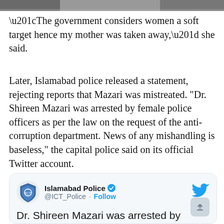[Figure (photo): Partial photo strip at top of page, showing cropped image]
“The government considers women a soft target hence my mother was taken away,” she said.
Later, Islamabad police released a statement, rejecting reports that Mazari was mistreated. "Dr. Shireen Mazari was arrested by female police officers as per the law on the request of the anti-corruption department. News of any mishandling is baseless," the capital police said on its official Twitter account.
[Figure (screenshot): Embedded tweet from Islamabad Police (@ICT_Police) with verified badge and Follow button. Tweet text: Dr. Shireen Mazari was arrested by female police officers as per the law on the request of the anti-corruption department.]